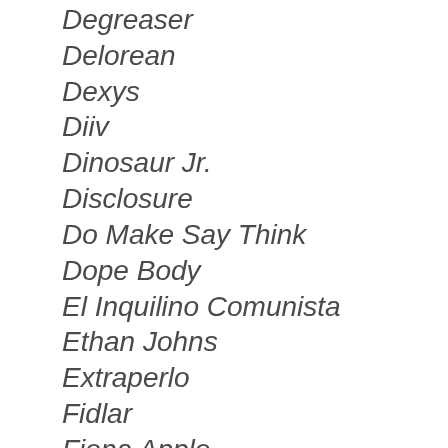Degreaser
Delorean
Dexys
Diiv
Dinosaur Jr.
Disclosure
Do Make Say Think
Dope Body
El Inquilino Comunista
Ethan Johns
Extraperlo
Fidlar
Fiona Apple